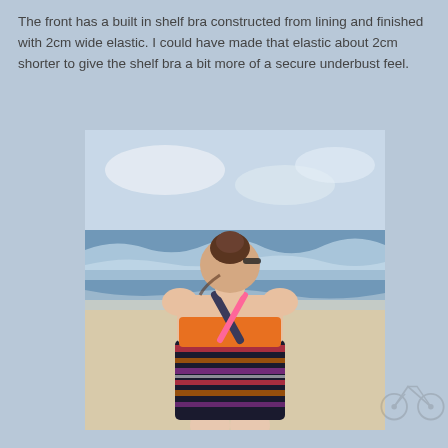The front has a built in shelf bra constructed from lining and finished with 2cm wide elastic. I could have made that elastic about 2cm shorter to give the shelf bra a bit more of a secure underbust feel.
[Figure (photo): A woman seen from behind standing at a beach, wearing a colorful patterned swimsuit with orange and dark multicolor stripes with pink and red floral elements, and cross-back straps. The ocean and waves are visible in the background under a light blue sky.]